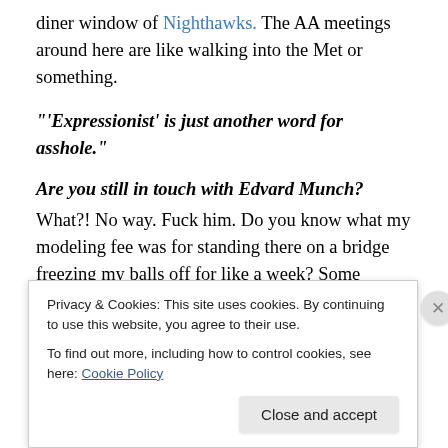diner window of Nighthawks. The AA meetings around here are like walking into the Met or something.
“‘Expressionist’ is just another word for asshole.”
Are you still in touch with Edvard Munch?
What?! No way. Fuck him. Do you know what my modeling fee was for standing there on a bridge freezing my balls off for like a week? Some greasy pizza and a promise to paint something cool on my Harley, which he never did. And then, when I kept asking if he’d sign a photo for my kids, he just blew me off. As far as I’m concerned
Privacy & Cookies: This site uses cookies. By continuing to use this website, you agree to their use.
To find out more, including how to control cookies, see here: Cookie Policy